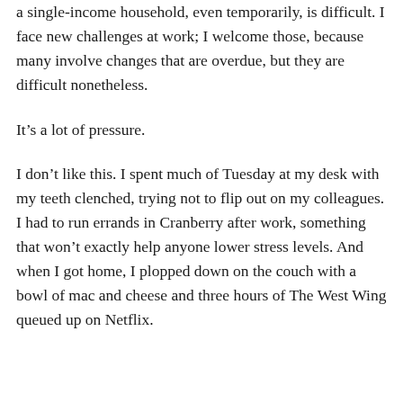a single-income household, even temporarily, is difficult. I face new challenges at work; I welcome those, because many involve changes that are overdue, but they are difficult nonetheless.
It’s a lot of pressure.
I don’t like this. I spent much of Tuesday at my desk with my teeth clenched, trying not to flip out on my colleagues. I had to run errands in Cranberry after work, something that won’t exactly help anyone lower stress levels. And when I got home, I plopped down on the couch with a bowl of mac and cheese and three hours of The West Wing queued up on Netflix.